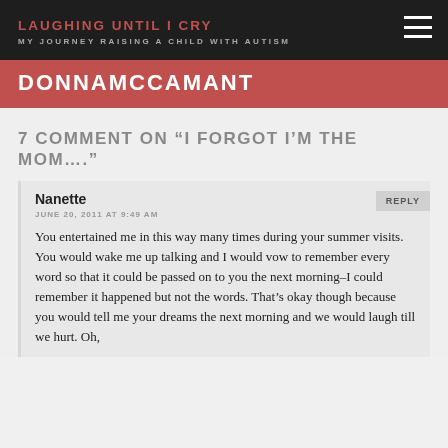LAUGHING UNTIL I CRY
MY JOURNEY RAISING A CHILD WITH AUTISM
DONNAMCCAMANT
7 COMMENT ON "I FORGOT I'M THE MOM…."
Nanette
JUNE 20, 2011 AT 9:49 AM
You entertained me in this way many times during your summer visits. You would wake me up talking and I would vow to remember every word so that it could be passed on to you the next morning–I could remember it happened but not the words. That's okay though because you would tell me your dreams the next morning and we would laugh till we hurt. Oh,